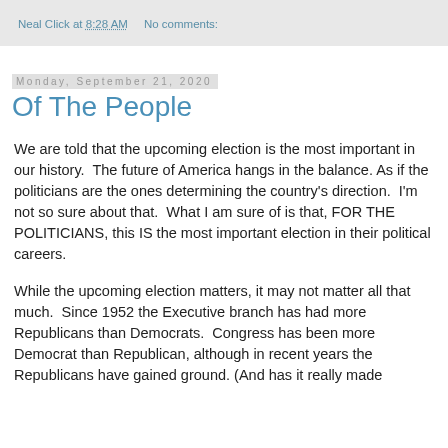Neal Click at 8:28 AM    No comments:
Monday, September 21, 2020
Of The People
We are told that the upcoming election is the most important in our history.  The future of America hangs in the balance.  As if the politicians are the ones determining the country's direction.  I'm not so sure about that.  What I am sure of is that, FOR THE POLITICIANS, this IS the most important election in their political careers.
While the upcoming election matters, it may not matter all that much.  Since 1952 the Executive branch has had more Republicans than Democrats.  Congress has been more Democrat than Republican, although in recent years the Republicans have gained ground. (And has it really made